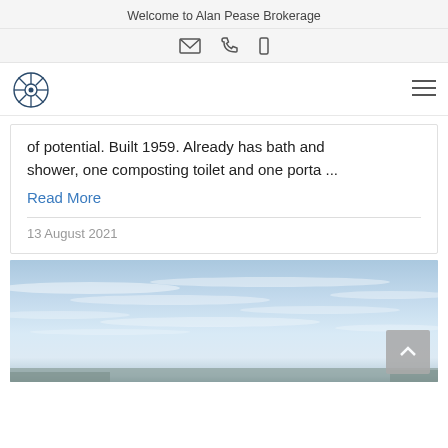Welcome to Alan Pease Brokerage
of potential. Built 1959. Already has bath and shower, one composting toilet and one porta ...
Read More
13 August 2021
[Figure (photo): Outdoor sky scene with blue sky and clouds, partially visible landscape at the bottom edge]